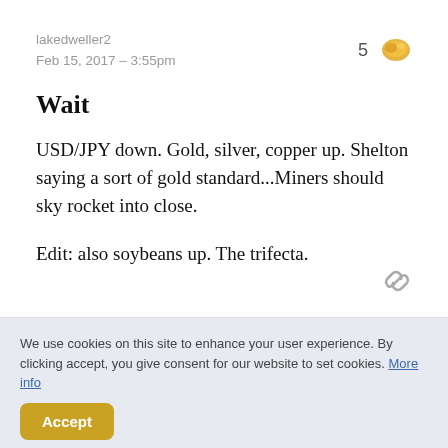lakedweller2
Feb 15, 2017 – 3:55pm
Wait
USD/JPY down. Gold, silver, copper up. Shelton saying a sort of gold standard...Miners should sky rocket into close.
Edit: also soybeans up. The trifecta.
We use cookies on this site to enhance your user experience. By clicking accept, you give consent for our website to set cookies. More info